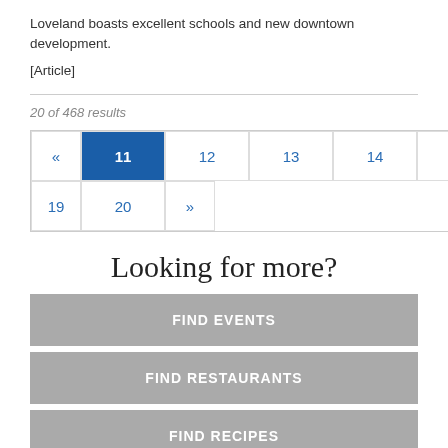Loveland boasts excellent schools and new downtown development.
[Article]
20 of 468 results
[Figure (other): Pagination widget showing pages «, 11 (active/highlighted), 12, 13, 14, 15, 16, 17, 18 in first row and 19, 20, » in second row]
Looking for more?
FIND EVENTS
FIND RESTAURANTS
FIND RECIPES